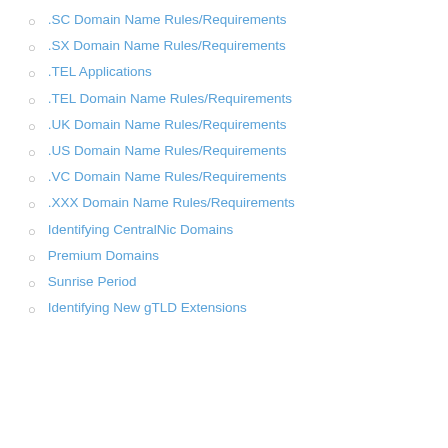.SC Domain Name Rules/Requirements
.SX Domain Name Rules/Requirements
.TEL Applications
.TEL Domain Name Rules/Requirements
.UK Domain Name Rules/Requirements
.US Domain Name Rules/Requirements
.VC Domain Name Rules/Requirements
.XXX Domain Name Rules/Requirements
Identifying CentralNic Domains
Premium Domains
Sunrise Period
Identifying New gTLD Extensions